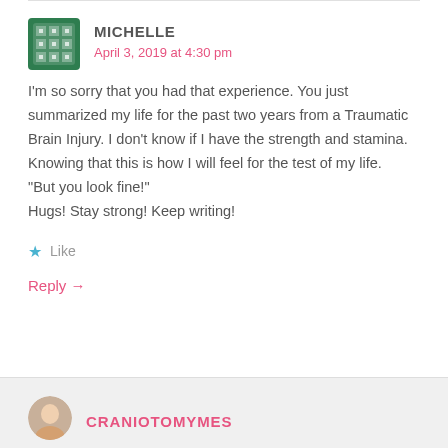MICHELLE
April 3, 2019 at 4:30 pm
I’m so sorry that you had that experience. You just summarized my life for the past two years from a Traumatic Brain Injury. I don’t know if I have the strength and stamina. Knowing that this is how I will feel for the test of my life.
“But you look fine!”
Hugs! Stay strong! Keep writing!
Like
Reply →
CRANIOTOMYMES